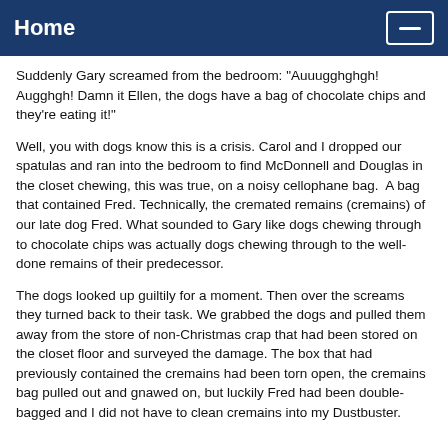Home
Suddenly Gary screamed from the bedroom: "Auuugghghgh! Augghgh! Damn it Ellen, the dogs have a bag of chocolate chips and they're eating it!"
Well, you with dogs know this is a crisis. Carol and I dropped our spatulas and ran into the bedroom to find McDonnell and Douglas in the closet chewing, this was true, on a noisy cellophane bag.  A bag that contained Fred. Technically, the cremated remains (cremains) of our late dog Fred. What sounded to Gary like dogs chewing through to chocolate chips was actually dogs chewing through to the well-done remains of their predecessor.
The dogs looked up guiltily for a moment. Then over the screams they turned back to their task. We grabbed the dogs and pulled them away from the store of non-Christmas crap that had been stored on the closet floor and surveyed the damage. The box that had previously contained the cremains had been torn open, the cremains bag pulled out and gnawed on, but luckily Fred had been double-bagged and I did not have to clean cremains into my Dustbuster.